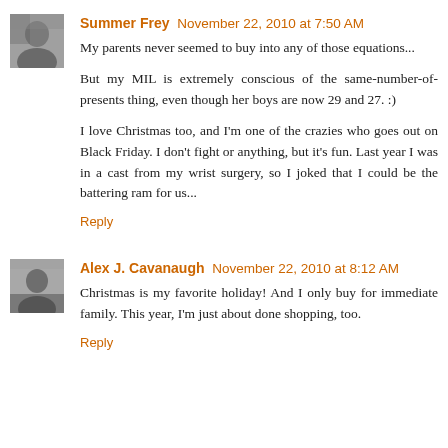[Figure (photo): Avatar photo of Summer Frey - woman with dark hair]
Summer Frey November 22, 2010 at 7:50 AM
My parents never seemed to buy into any of those equations...

But my MIL is extremely conscious of the same-number-of-presents thing, even though her boys are now 29 and 27. :)

I love Christmas too, and I'm one of the crazies who goes out on Black Friday. I don't fight or anything, but it's fun. Last year I was in a cast from my wrist surgery, so I joked that I could be the battering ram for us...
Reply
[Figure (photo): Avatar photo of Alex J. Cavanaugh - grayscale figure]
Alex J. Cavanaugh November 22, 2010 at 8:12 AM
Christmas is my favorite holiday! And I only buy for immediate family. This year, I'm just about done shopping, too.
Reply